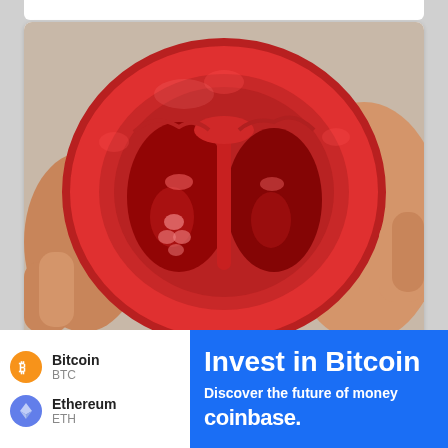[Figure (photo): Close-up photo of a red tomato sliced in half horizontally, held by a hand, showing the interior seed cavities. The cross-section shows deep red flesh with hollow chambers inside.]
8 Superfoods For Growing Hair Back And Stimulating Its Growth
[Figure (infographic): Coinbase advertisement banner showing crypto listings (Bitcoin BTC and Ethereum ETH with their icons on the left) and a blue panel on the right reading 'Invest in Bitcoin' and 'Discover the future of money' with 'coinbase.' branding.]